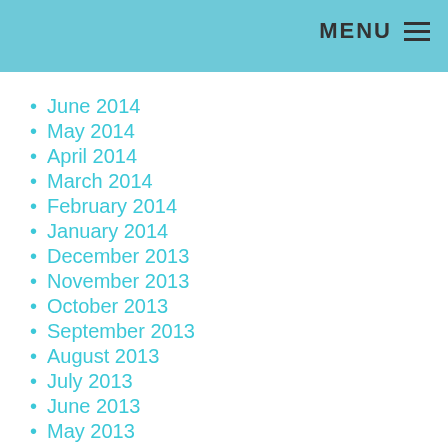MENU
June 2014
May 2014
April 2014
March 2014
February 2014
January 2014
December 2013
November 2013
October 2013
September 2013
August 2013
July 2013
June 2013
May 2013
April 2013
March 2013
February 2013
January 2013
December 2012
November 2012
October 2012